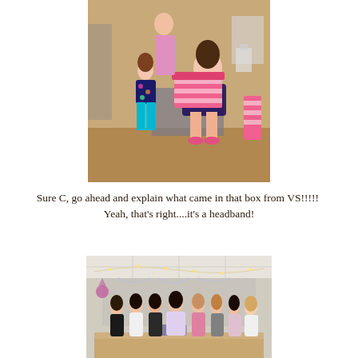[Figure (photo): A woman seated opening a pink Victoria's Secret striped gift box, while a young girl in a floral top and turquoise leggings stands beside her. Another person stands in background. A pink and white striped box is visible on the right side.]
Sure C, go ahead and explain what came in that box from VS!!!!!  Yeah, that's right....it's a headband!
[Figure (photo): A group of approximately eight women standing together in a decorated room with string lights on the ceiling and a table in front of them. The setting appears to be a party or shower event.]